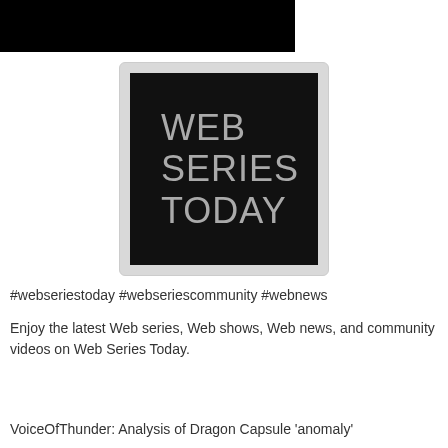[Figure (photo): Black rectangular banner image at top of page]
[Figure (logo): Web Series Today logo: black square with large gray text reading WEB SERIES TODAY, rounded border, light gray background framing]
#webseriestoday #webseriescommunity #webnews
Enjoy the latest Web series, Web shows, Web news, and community videos on Web Series Today.
VoiceOfThunder: Analysis of Dragon Capsule 'anomaly'